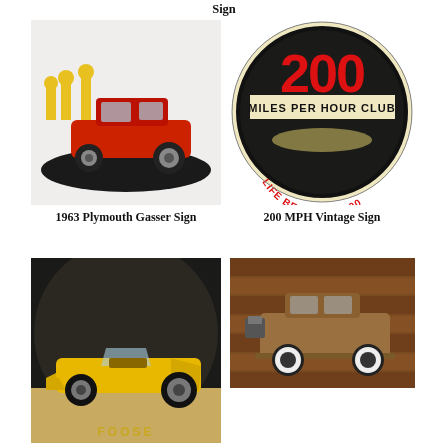Sign
[Figure (photo): 1963 Plymouth Gasser race car, red, parked on dark oval surface with vintage gas pumps in background]
1963 Plymouth Gasser Sign
[Figure (photo): Circular vintage sign reading '200 Miles Per Hour Club - Life Begins at 200' with black background, red and cream lettering, and silhouette of a race car]
200 MPH Vintage Sign
[Figure (photo): Yellow classic hot rod roadster on dark circular background with Foose branding at bottom]
[Figure (photo): Brown vintage hot rod coupe on wood-plank background]